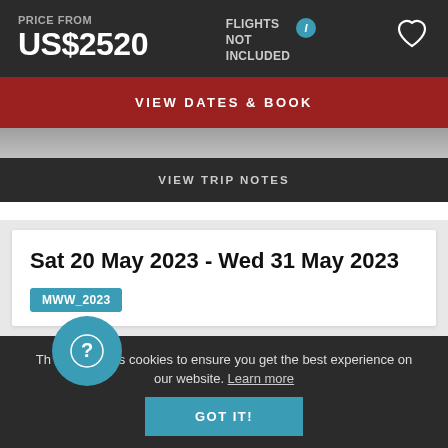PRICE FROM
US$2520
FLIGHTS NOT INCLUDED
VIEW DATES & BOOK
VIEW TRIP NOTES
Sat 20 May 2023 - Wed 31 May 2023
MWW_2023
This site uses cookies to ensure you get the best experience on our website. Learn more
GOT IT!